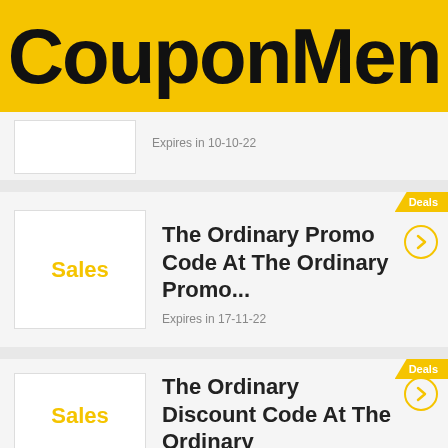CouponMen
Expires in 10-10-22
Deals
[Figure (illustration): Sales label on white background box]
The Ordinary Promo Code At The Ordinary Promo...
Expires in 17-11-22
Deals
[Figure (illustration): Sales label on white background box]
The Ordinary Discount Code At The Ordinary...